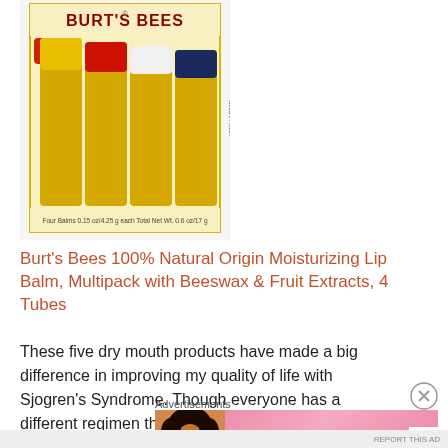[Figure (photo): Burt's Bees lip balm 4-pack product image showing four lip balm tubes: Beeswax, Strawberry, Coconut & Pear, and Vanilla Bean flavors in a yellow box labeled 'Value 4 Pack!']
Burt's Bees 100% Natural Origin Moisturizing Lip Balm, Multipack with Beeswax & Fruit Extracts, 4 Tubes
These five dry mouth products have made a big difference in improving my quality of life with Sjogren's Syndrome. Though everyone has a different regimen that works best for them, I
Advertisements
[Figure (photo): Victoria's Secret advertisement banner showing a woman with curly hair, VS logo, 'SHOP THE COLLECTION' text and 'SHOP NOW' button]